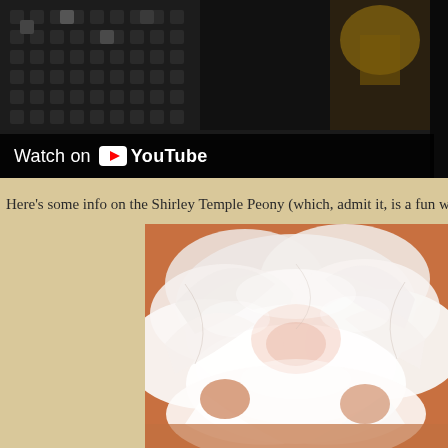[Figure (screenshot): YouTube video thumbnail showing a dark scene with a disco ball and a person, with a 'Watch on YouTube' overlay bar at the bottom left]
Here’s some info on the Shirley Temple Peony (which, admit it, is a fun w
[Figure (photo): Close-up photo of a white/blush pink peony flower with many layered petals]